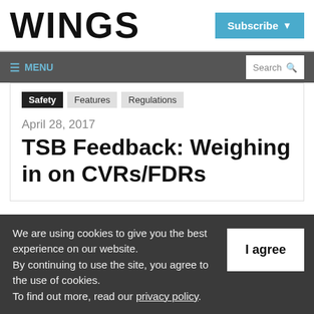WINGS
Subscribe
≡ MENU  Search
Safety  Features  Regulations
April 28, 2017
TSB Feedback: Weighing in on CVRs/FDRs
We are using cookies to give you the best experience on our website.
By continuing to use the site, you agree to the use of cookies.
To find out more, read our privacy policy.
I agree